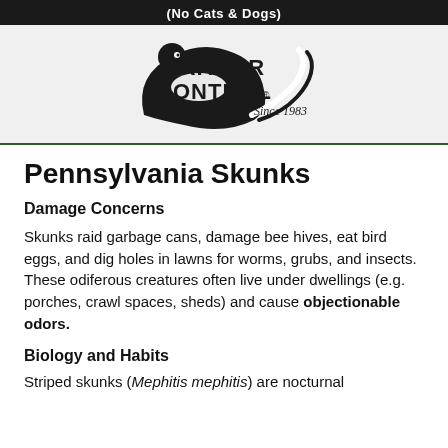(No Cats & Dogs)
[Figure (logo): Critter Control logo with raccoon illustration and text 'Since 1983']
Pennsylvania Skunks
Damage Concerns
Skunks raid garbage cans, damage bee hives, eat bird eggs, and dig holes in lawns for worms, grubs, and insects. These odiferous creatures often live under dwellings (e.g. porches, crawl spaces, sheds) and cause objectionable odors.
Biology and Habits
Striped skunks (Mephitis mephitis) are nocturnal and...